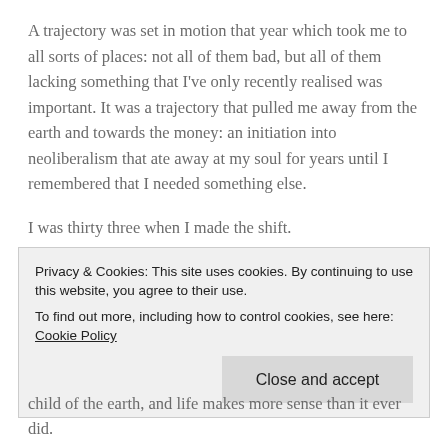A trajectory was set in motion that year which took me to all sorts of places: not all of them bad, but all of them lacking something that I've only recently realised was important. It was a trajectory that pulled me away from the earth and towards the money: an initiation into neoliberalism that ate away at my soul for years until I remembered that I needed something else.
I was thirty three when I made the shift.
It scared me: moving out of the city and into the countryside. For all the angst it had brought the city had held me, and for all I had longed for the sea its wide expanse was terrifying,
child of the earth, and life makes more sense than it ever did.
Privacy & Cookies: This site uses cookies. By continuing to use this website, you agree to their use.
To find out more, including how to control cookies, see here: Cookie Policy
Close and accept